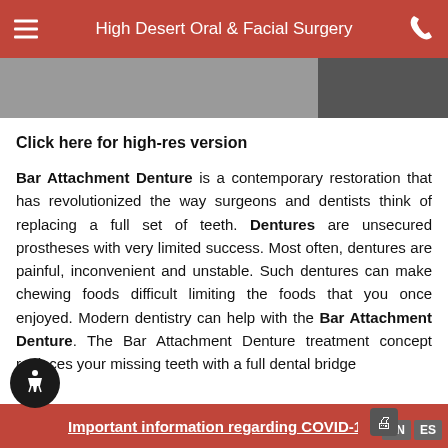High Desert Oral & Facial Surgery
[Figure (screenshot): Partial banner image with dark overlay on right side]
Click here for high-res version
Bar Attachment Denture is a contemporary restoration that has revolutionized the way surgeons and dentists think of replacing a full set of teeth. Dentures are unsecured prostheses with very limited success. Most often, dentures are painful, inconvenient and unstable. Such dentures can make chewing foods difficult limiting the foods that you once enjoyed. Modern dentistry can help with the Bar Attachment Denture. The Bar Attachment Denture treatment concept replaces your missing teeth with a full dental bridge
Important information regarding COVID-19